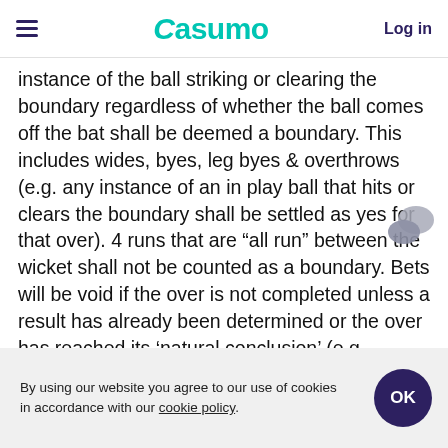Casumo | Log in
instance of the ball striking or clearing the boundary regardless of whether the ball comes off the bat shall be deemed a boundary. This includes wides, byes, leg byes & overthrows (e.g. any instance of an in play ball that hits or clears the boundary shall be settled as yes for that over). 4 runs that are “all run” between the wicket shall not be counted as a boundary. Bets will be void if the over is not completed unless a result has already been determined or the over has reached its ‘natural conclusion’ (e.g. innings end, declaration). The market refers only to the listed over (e.g. Over” refers to over number 5, i.e. the over
By using our website you agree to our use of cookies in accordance with our cookie policy.